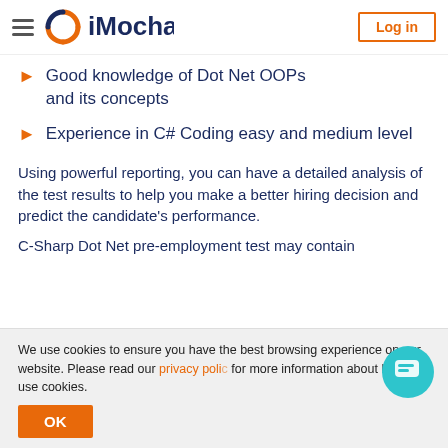iMocha — Log in
Good knowledge of Dot Net OOPs and its concepts
Experience in C# Coding easy and medium level
Using powerful reporting, you can have a detailed analysis of the test results to help you make a better hiring decision and predict the candidate's performance.
C-Sharp Dot Net pre-employment test may contain
We use cookies to ensure you have the best browsing experience on our website. Please read our privacy policy for more information about how we use cookies.